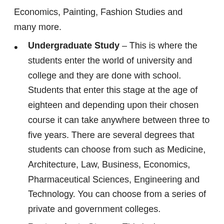Economics, Painting, Fashion Studies and many more.
Undergraduate Study – This is where the students enter the world of university and college and they are done with school. Students that enter this stage at the age of eighteen and depending upon their chosen course it can take anywhere between three to five years. There are several degrees that students can choose from such as Medicine, Architecture, Law, Business, Economics, Pharmaceutical Sciences, Engineering and Technology. You can choose from a series of private and government colleges.
Postgraduate Stage – This is the stage